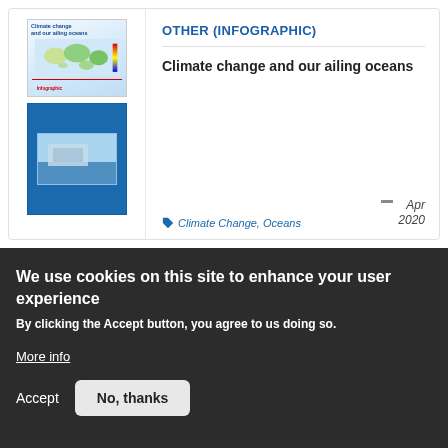[Figure (infographic): Thumbnail preview of infographic document titled 'Climate change and our ailing oceans' showing world map with colored regions on top and a blue panel with ocean image on bottom]
OTHER (INFOGRAPHIC)
Climate change and our ailing oceans
Climate Change, Oceans
Apr 2020
We use cookies on this site to enhance your user experience
By clicking the Accept button, you agree to us doing so.
More info
Accept
No, thanks